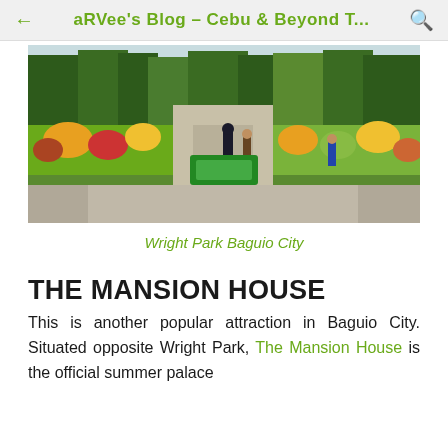← aRVee's Blog – Cebu & Beyond T...
[Figure (photo): Outdoor photo of Wright Park in Baguio City showing a tree-lined path with colorful flower gardens, green hedges, and people walking along the road on a sunny day.]
Wright Park Baguio City
THE MANSION HOUSE
This is another popular attraction in Baguio City. Situated opposite Wright Park, The Mansion House is the official summer palace